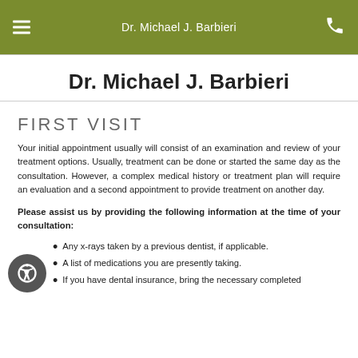Dr. Michael J. Barbieri
Dr. Michael J. Barbieri
FIRST VISIT
Your initial appointment usually will consist of an examination and review of your treatment options. Usually, treatment can be done or started the same day as the consultation. However, a complex medical history or treatment plan will require an evaluation and a second appointment to provide treatment on another day.
Please assist us by providing the following information at the time of your consultation:
Any x-rays taken by a previous dentist, if applicable.
A list of medications you are presently taking.
If you have dental insurance, bring the necessary completed